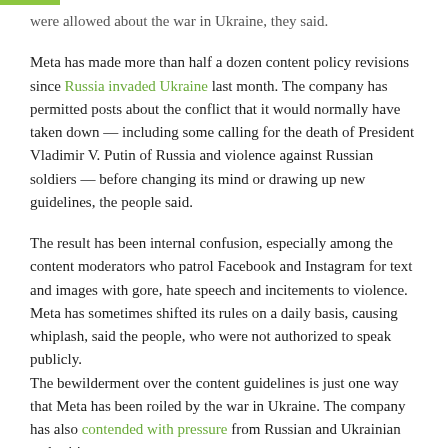were allowed about the war in Ukraine, they said.
Meta has made more than half a dozen content policy revisions since Russia invaded Ukraine last month. The company has permitted posts about the conflict that it would normally have taken down — including some calling for the death of President Vladimir V. Putin of Russia and violence against Russian soldiers — before changing its mind or drawing up new guidelines, the people said.
The result has been internal confusion, especially among the content moderators who patrol Facebook and Instagram for text and images with gore, hate speech and incitements to violence. Meta has sometimes shifted its rules on a daily basis, causing whiplash, said the people, who were not authorized to speak publicly.
The bewilderment over the content guidelines is just one way that Meta has been roiled by the war in Ukraine. The company has also contended with pressure from Russian and Ukrainian authorities